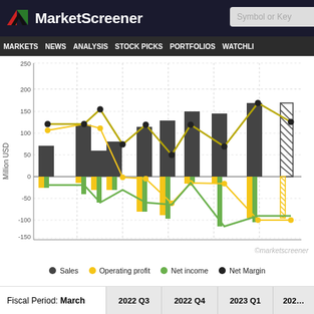MarketScreener
MARKETS NEWS ANALYSIS STOCK PICKS PORTFOLIOS WATCHLI
[Figure (line-chart): Sales, Operating profit, Net income, Net Margin by Quarter]
©marketscreener
| Fiscal Period: March | 2022 Q3 | 2022 Q4 | 2023 Q1 | 202... |
| --- | --- | --- | --- | --- |